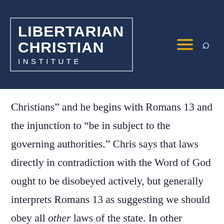[Figure (logo): Libertarian Christian Institute logo — white bold text on dark navy background with border, with hamburger menu icon and search icon]
Christians” and he begins with Romans 13 and the injunction to “be in subject to the governing authorities.” Chris says that laws directly in contradiction with the Word of God ought to be disobeyed actively, but generally interprets Romans 13 as suggesting we should obey all other laws of the state. In other words, he does not really take the